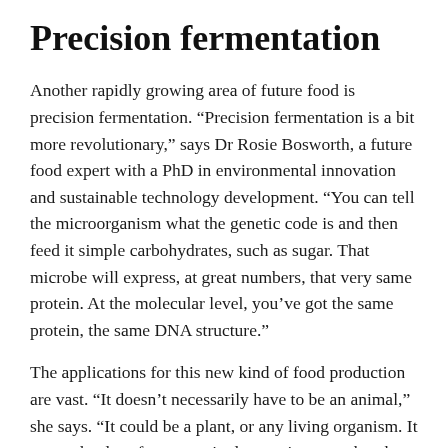Precision fermentation
Another rapidly growing area of future food is precision fermentation. “Precision fermentation is a bit more revolutionary,” says Dr Rosie Bosworth, a future food expert with a PhD in environmental innovation and sustainable technology development. “You can tell the microorganism what the genetic code is and then feed it simple carbohydrates, such as sugar. That microbe will express, at great numbers, that very same protein. At the molecular level, you’ve got the same protein, the same DNA structure.”
The applications for this new kind of food production are vast. “It doesn’t necessarily have to be an animal,” she says. “It could be a plant, or any living organism. It opens the door for every single protein on earth to be produced by precision fermentation.
“Not just the cow protein, but very rare proteins that